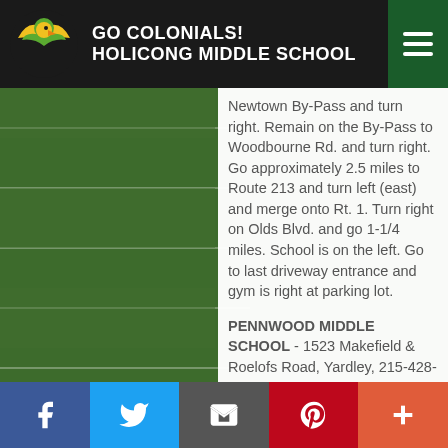GO COLONIALS! HOLICONG MIDDLE SCHOOL
Newtown By-Pass and turn right. Remain on the By-Pass to Woodbourne Rd. and turn right. Go approximately 2.5 miles to Route 213 and turn left (east) and merge onto Rt. 1. Turn right on Olds Blvd. and go 1-1/4 miles. School is on the left. Go to last driveway entrance and gym is right at parking lot.
PENNWOOD MIDDLE SCHOOL - 1523 Makefield & Roelofs Road, Yardley, 215-428-4255. Take Almshouse Road East (which is 332). Rt. 332 East turns right at Shir Ami Synagogue. Continue on 332 East to Stoney Hill Road and turn right. Then turn left on Big Oak Road. Follow to Makefield Road and turn left. Follow to Roelof Road and turn left into parking lot.
f  Twitter  Email  Pinterest  +